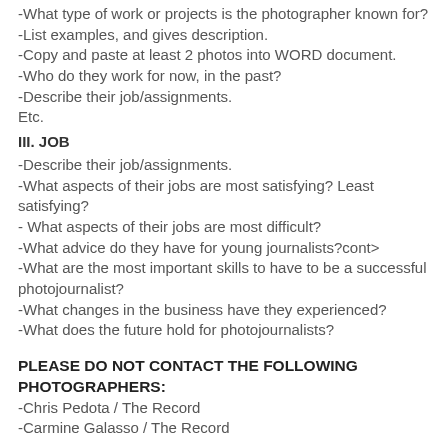-What type of work or projects is the photographer known for?
-List examples, and gives description.
-Copy and paste at least 2 photos into WORD document.
-Who do they work for now, in the past?
-Describe their job/assignments.
Etc.
III. JOB
-Describe their job/assignments.
-What aspects of their jobs are most satisfying? Least satisfying?
- What aspects of their jobs are most difficult?
-What advice do they have for young journalists?cont>
-What are the most important skills to have to be a successful photojournalist?
-What changes in the business have they experienced?
-What does the future hold for photojournalists?
PLEASE DO NOT CONTACT THE FOLLOWING PHOTOGRAPHERS:
-Chris Pedota / The Record
-Carmine Galasso / The Record